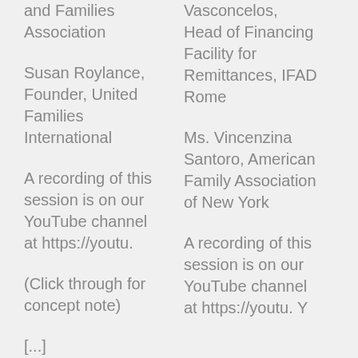and Families Association
Susan Roylance, Founder, United Families International
A recording of this session is on our YouTube channel at https://youtu.
(Click through for concept note)
[...]
Vasconcelos, Head of Financing Facility for Remittances, IFAD Rome
Ms. Vincenzina Santoro, American Family Association of New York
A recording of this session is on our YouTube channel at https://youtu. Y